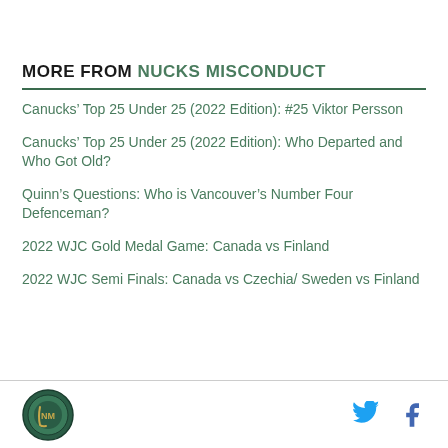MORE FROM NUCKS MISCONDUCT
Canucks’ Top 25 Under 25 (2022 Edition): #25 Viktor Persson
Canucks’ Top 25 Under 25 (2022 Edition): Who Departed and Who Got Old?
Quinn’s Questions: Who is Vancouver’s Number Four Defenceman?
2022 WJC Gold Medal Game: Canada vs Finland
2022 WJC Semi Finals: Canada vs Czechia/ Sweden vs Finland
Nucks Misconduct logo, Twitter and Facebook icons